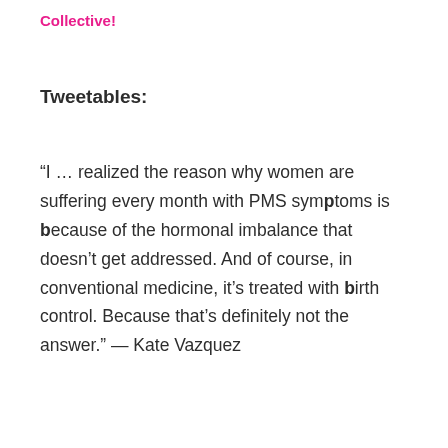Collective!
Tweetables:
“I … realized the reason why women are suffering every month with PMS symptoms is because of the hormonal imbalance that doesn’t get addressed. And of course, in conventional medicine, it’s treated with birth control. Because that’s definitely not the answer.” — Kate Vazquez